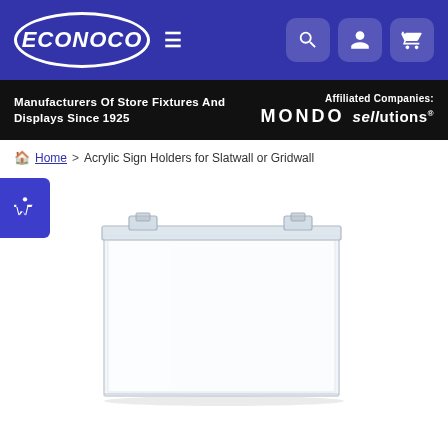[Figure (logo): Econoco logo in blue oval on dark blue navigation bar with hamburger menu and icons for search, account, and cart]
Manufacturers Of Store Fixtures And Displays Since 1925
Affiliated Companies: MONDO sellutions®
Home > Acrylic Sign Holders for Slatwall or Gridwall
[Figure (photo): Acrylic sign holder for slatwall or gridwall — clear horizontal acrylic pocket with mounting hooks at top]